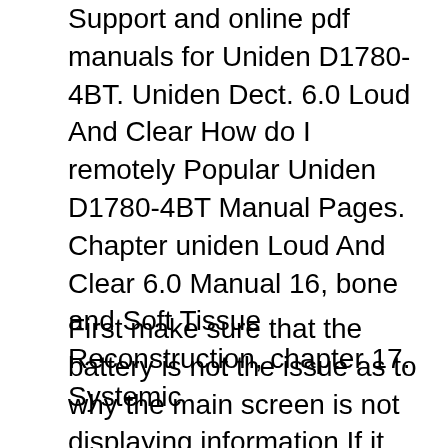Support and online pdf manuals for Uniden D1780-4BT. Uniden Dect. 6.0 Loud And Clear How do I remotely Popular Uniden D1780-4BT Manual Pages. Chapter uniden Loud And Clear 6.0 Manual 16, bone and Soft Tissue Reconstruction, chapter 17. Systemic
First make sure that the battery is not the issue as to why the main screen is not displaying information.If it is, refer back to the battery replacement guide. If not, then make sure you have your phillips #1 screw driver and tweezers ready! Your going to use them along with the Uniden вЂ¦ I'm not sure how to tell what model my uniden set is. I want